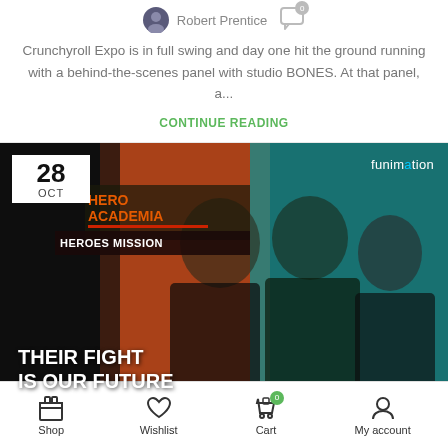Robert Prentice
Crunchyroll Expo is in full swing and day one hit the ground running with a behind-the-scenes panel with studio BONES. At that panel, a...
CONTINUE READING
[Figure (photo): My Hero Academia: World Heroes Mission Funimation promotional image showing three characters (Bakugo, Midoriya, Todoroki) in black tactical gear. Date badge shows 28 OCT. Text reads THEIR FIGHT IS OUR FUTURE. Funimation logo in top right.]
Shop | Wishlist | Cart | My account